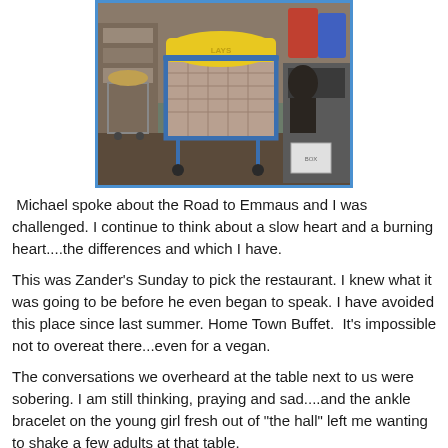[Figure (photo): A shopping cart loaded with bags of groceries including a yellow bag on top, photographed in a store setting with shelves and another cart visible in the background.]
Michael spoke about the Road to Emmaus and I was challenged. I continue to think about a slow heart and a burning heart....the differences and which I have.
This was Zander's Sunday to pick the restaurant. I knew what it was going to be before he even began to speak. I have avoided this place since last summer. Home Town Buffet.  It's impossible not to overeat there...even for a vegan.
The conversations we overheard at the table next to us were sobering. I am still thinking, praying and sad....and the ankle bracelet on the young girl fresh out of "the hall" left me wanting to shake a few adults at that table.